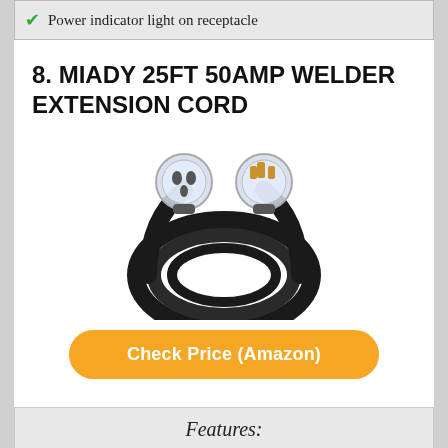✓ Power indicator light on receptacle
8. MIADY 25FT 50AMP WELDER EXTENSION CORD
[Figure (photo): Photo of a black welder extension cord with two clear/transparent plugs on each end, coiled in a circular shape.]
Check Price (Amazon)
Features:
✓ PROFESSIONAL WELDER EXTENSION